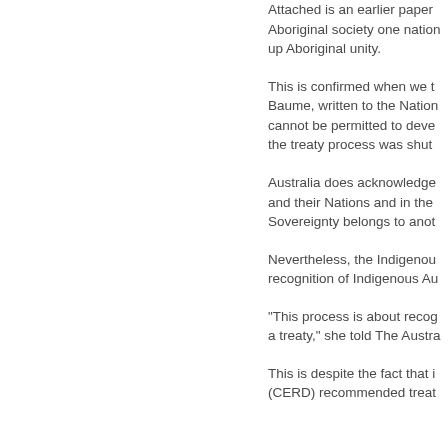Attached is an earlier paper Aboriginal society one nation up Aboriginal unity.
This is confirmed when we t Baume, written to the Nation cannot be permitted to deve the treaty process was shut
Australia does acknowledge and their Nations and in the Sovereignty belongs to anot
Nevertheless, the Indigenou recognition of Indigenous Au
"This process is about recog a treaty," she told The Austra
This is despite the fact that i (CERD) recommended treat